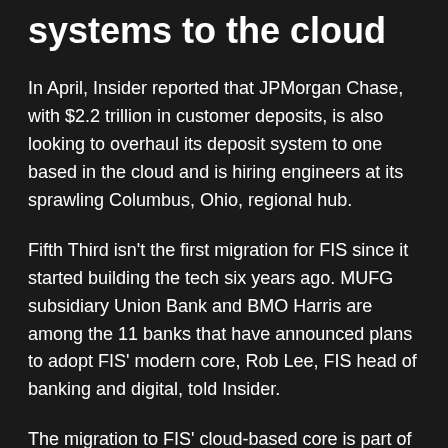systems to the cloud
In April, Insider reported that JPMorgan Chase, with $2.2 trillion in customer deposits, is also looking to overhaul its deposit system to one based in the cloud and is hiring engineers at its sprawling Columbus, Ohio, regional hub.
Fifth Third isn't the first migration for FIS since it started building the tech six years ago. MUFG subsidiary Union Bank and BMO Harris are among the 11 banks that have announced plans to adopt FIS' modern core, Rob Lee, FIS head of banking and digital, told Insider.
The migration to FIS' cloud-based core is part of a larger tech overhaul at Fifth Third. Cloud-based fintech nCino is launching Fifth Third's revamped commercial loan origination system in August. The bank is already working